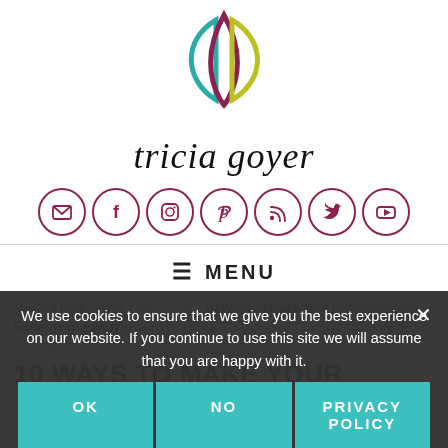[Figure (logo): Tricia Goyer blog logo: stylized leaf/petal SVG icon in teal, purple, and yellow-green above cursive 'tricia goyer' text]
[Figure (infographic): Row of 7 circular social media icon buttons with purple border: email/envelope, Facebook, Instagram, Pinterest, RSS, Twitter, YouTube]
≡ MENU
You are here: Home / guest post / 10 Ways to Make Your Homeschooling Easier {+ giveaway!}
NOVEMBER 16, 2015 BY TRICIA GOYER
10 WAYS TO MAKE YOUR
We use cookies to ensure that we give you the best experience on our website. If you continue to use this site we will assume that you are happy with it.
OK  NO  PRIVACY POLICY